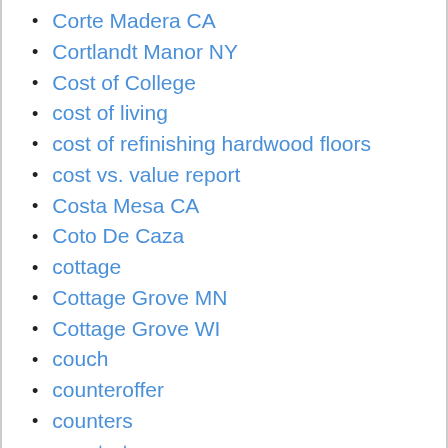Corte Madera CA
Cortlandt Manor NY
Cost of College
cost of living
cost of refinishing hardwood floors
cost vs. value report
Costa Mesa CA
Coto De Caza
cottage
Cottage Grove MN
Cottage Grove WI
couch
counteroffer
counters
countertops
country
Country club living
country estate
country music